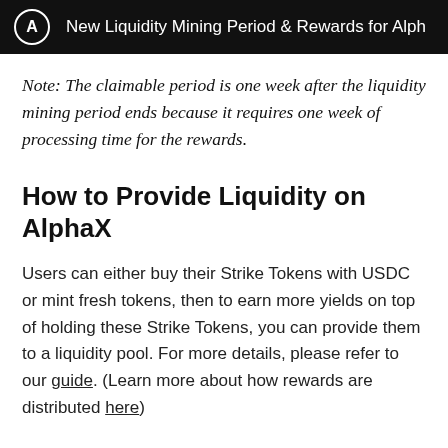New Liquidity Mining Period & Rewards for Alph
Note: The claimable period is one week after the liquidity mining period ends because it requires one week of processing time for the rewards.
How to Provide Liquidity on AlphaX
Users can either buy their Strike Tokens with USDC or mint fresh tokens, then to earn more yields on top of holding these Strike Tokens, you can provide them to a liquidity pool. For more details, please refer to our guide. (Learn more about how rewards are distributed here)